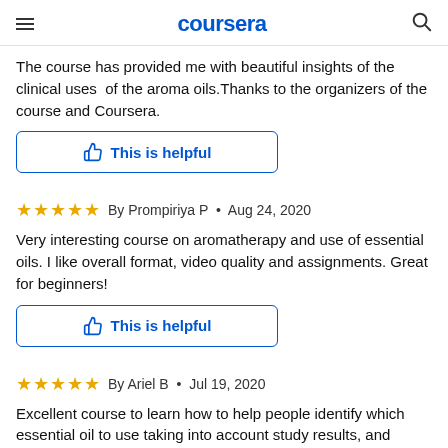coursera
The course has provided me with beautiful insights of the clinical uses  of the aroma oils.Thanks to the organizers of the course and Coursera.
This is helpful
By Prompiriya P  •  Aug 24, 2020
Very interesting course on aromatherapy and use of essential oils. I like overall format, video quality and assignments. Great for beginners!
This is helpful
By Ariel B  •  Jul 19, 2020
Excellent course to learn how to help people identify which essential oil to use taking into account study results, and